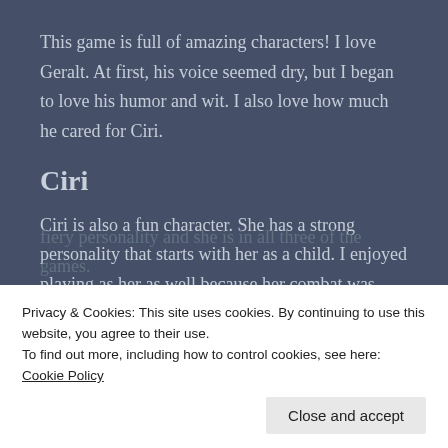This game is full of amazing characters! I love Geralt. At first, his voice seemed dry, but I began to love his humor and wit. I also love how much he cared for Ciri.
Ciri
Ciri is also a fun character. She has a strong personality that starts with her as a child. I enjoyed playing as her as well because her combat was really fast.
Triss and Yen
fiery personality and she is in all three of the games.
Privacy & Cookies: This site uses cookies. By continuing to use this website, you agree to their use.
To find out more, including how to control cookies, see here: Cookie Policy
Close and accept